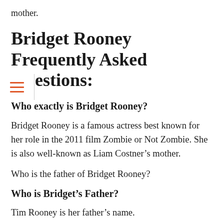mother.
Bridget Rooney Frequently Asked Questions:
Who exactly is Bridget Rooney?
Bridget Rooney is a famous actress best known for her role in the 2011 film Zombie or Not Zombie. She is also well-known as Liam Costner's mother.
Who is the father of Bridget Rooney?
Who is Bridget's Father?
Tim Rooney is her father's name.
Bridget Rooney's age?
She is 59 years old, based on her birth date of May